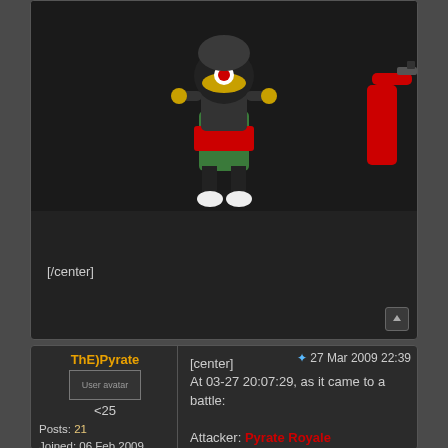[Figure (screenshot): Top portion of a forum post showing cartoon characters (Marvin the Martian and another character) on a dark background, with [/center] tag visible below]
[/center]
ThE)Pyrate
[Figure (photo): User avatar placeholder]
<25
Posts: 21
Joined: 06 Feb 2009 21:22
Location: Virginia, USA
27 Mar 2009 22:39
[center]
At 03-27 20:07:29, as it came to a battle:

Attacker: Pyrate Royale
Weapons: 150% Shields: 150% Armour: 150%
Battleship...250

Defender: BadGhost
Weapons: 170% Shields: 160% Armour: 160%
L.Cargo...25
R.Launcher...250
L.Laser...12